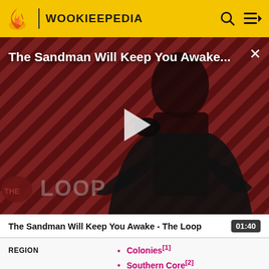WOOKIEEPEDIA
[Figure (screenshot): Video thumbnail for 'The Sandman Will Keep You Awake - The Loop' showing a dark figure in black with a raven, against a red and black striped background. Play button overlay visible. 'THE LOOP' watermark in lower left.]
The Sandman Will Keep You Awake - The Loop
| Field | Value |
| --- | --- |
| REGION | Colonies[1], Southern Core[2] |
| GRID SQUARE | L-13[1] |